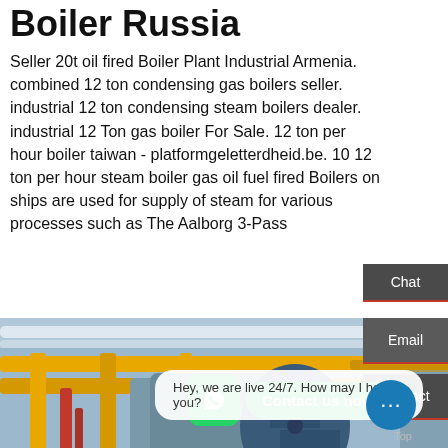Boiler Russia
Seller 20t oil fired Boiler Plant Industrial Armenia. combined 12 ton condensing gas boilers seller. industrial 12 ton condensing steam boilers dealer. industrial 12 Ton gas boiler For Sale. 12 ton per hour boiler taiwan - platformgeletterdheid.be. 10 12 ton per hour steam boiler gas oil fuel fired Boilers on ships are used for supply of steam for various processes such as The Aalborg 3-Pass
Learn More
[Figure (photo): Industrial boiler room with yellow horizontal pipes, blue cylindrical boiler tanks, red pipes, and steel structure overhead]
Chat
Email
Contact us now!
Contact
Hey, we are live 24/7. How may I help you?
Top